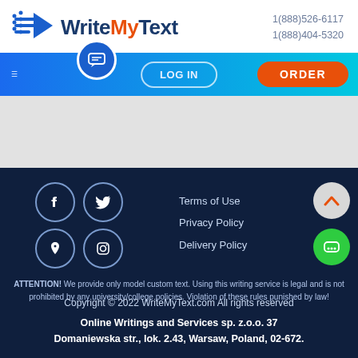WriteMyText — 1(888)526-6117 / 1(888)404-5320
[Figure (logo): WriteMyText logo with blue arrow icon and orange 'My' text]
LOG IN
ORDER
[Figure (infographic): Social media icons: Facebook, Twitter, Pinterest, Instagram in circular outlines]
Terms of Use
Privacy Policy
Delivery Policy
ATTENTION! We provide only model custom text. Using this writing service is legal and is not prohibited by any university/college policies. Violation of these rules punished by law!
Copyright © 2022 WriteMyText.com All rights reserved
Online Writings and Services sp. z.o.o. 37 Domaniewska str., lok. 2.43, Warsaw, Poland, 02-672.